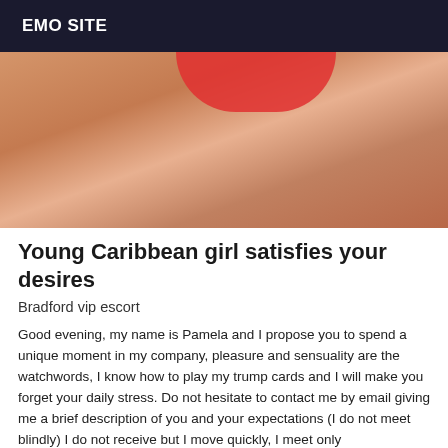EMO SITE
[Figure (photo): Close-up photo of a person in a red bikini]
Young Caribbean girl satisfies your desires
Bradford vip escort
Good evening, my name is Pamela and I propose you to spend a unique moment in my company, pleasure and sensuality are the watchwords, I know how to play my trump cards and I will make you forget your daily stress. Do not hesitate to contact me by email giving me a brief description of you and your expectations (I do not meet blindly) I do not receive but I move quickly, I meet only